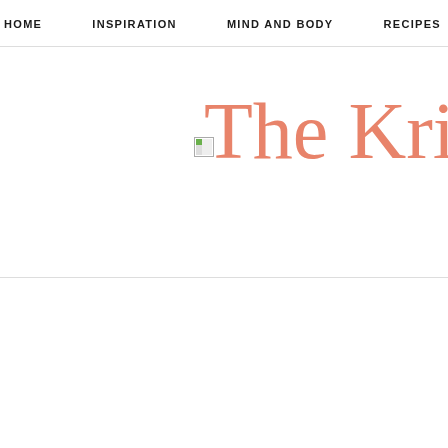HOME    INSPIRATION    MIND AND BODY    RECIPES
The Kri
[Figure (other): Broken image placeholder icon (small thumbnail icon with green/colored corner indicating a failed image load)]